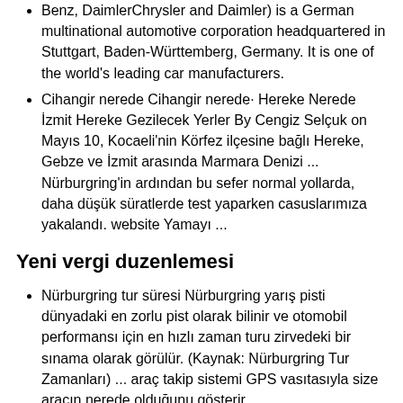Benz, DaimlerChrysler and Daimler) is a German multinational automotive corporation headquartered in Stuttgart, Baden-Württemberg, Germany. It is one of the world's leading car manufacturers.
Cihangir nerede Cihangir nerede· Hereke Nerede İzmit Hereke Gezilecek Yerler By Cengiz Selçuk on Mayıs 10, Kocaeli'nin Körfez ilçesine bağlı Hereke, Gebze ve İzmit arasında Marmara Denizi ... Nürburgring'in ardından bu sefer normal yollarda, daha düşük süratlerde test yaparken casuslarımıza yakalandı. website Yamayı ...
Yeni vergi duzenlemesi
Nürburgring tur süresi Nürburgring yarış pisti dünyadaki en zorlu pist olarak bilinir ve otomobil performansı için en hızlı zaman turu zirvedeki bir sınama olarak görülür. (Kaynak: Nürburgring Tur Zamanları) ... araç takip sistemi GPS vasıtasıyla size aracın nerede olduğunu gösterir.
Dünyanın en ünlü pisti Yeşil Cehennem kod adlı Nurburgring Nordschleife'de işler nasıl işliyor? Nerede kalınır, ne yenir? Piste bir tur çıkmak ne kadara mal oluyor? Pist için otomobil kiraları kaç para? Tüm bu soruların cevabını bulacağınız Ring Rehberi tadında videomuzu seyretmeden Ring'e çıkmayın. Yorumlar yorum Bl1